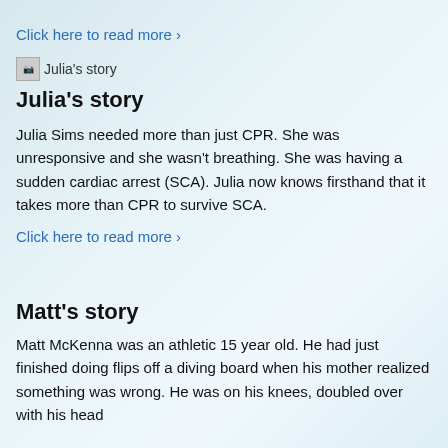Click here to read more ›
[Figure (photo): Julia's story image thumbnail]
Julia's story
Julia Sims needed more than just CPR. She was unresponsive and she wasn't breathing. She was having a sudden cardiac arrest (SCA). Julia now knows firsthand that it takes more than CPR to survive SCA.
Click here to read more ›
Matt's story
Matt McKenna was an athletic 15 year old. He had just finished doing flips off a diving board when his mother realized something was wrong. He was on his knees, doubled over with his head…